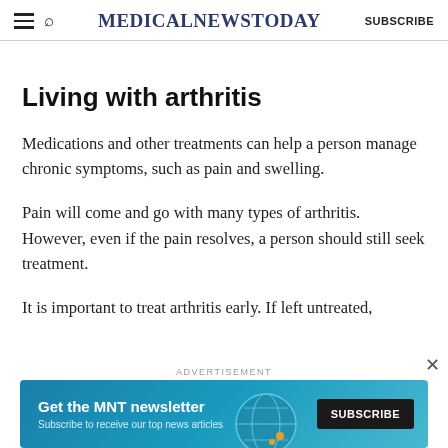MedicalNewsToday  SUBSCRIBE
Living with arthritis
Medications and other treatments can help a person manage chronic symptoms, such as pain and swelling.
Pain will come and go with many types of arthritis. However, even if the pain resolves, a person should still seek treatment.
It is important to treat arthritis early. If left untreated,
[Figure (other): Advertisement banner: Get the MNT newsletter. Subscribe to receive our top news articles. SUBSCRIBE button.]